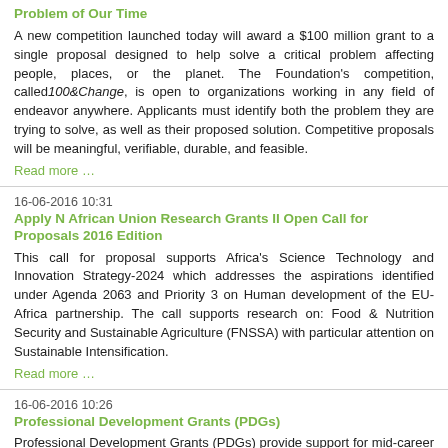Problem of Our Time
A new competition launched today will award a $100 million grant to a single proposal designed to help solve a critical problem affecting people, places, or the planet. The Foundation's competition, called 100&Change, is open to organizations working in any field of endeavor anywhere. Applicants must identify both the problem they are trying to solve, as well as their proposed solution. Competitive proposals will be meaningful, verifiable, durable, and feasible.
Read more …
16-06-2016 10:31
Apply N African Union Research Grants II Open Call for Proposals 2016 Edition
This call for proposal supports Africa's Science Technology and Innovation Strategy-2024 which addresses the aspirations identified under Agenda 2063 and Priority 3 on Human development of the EU-Africa partnership. The call supports research on: Food & Nutrition Security and Sustainable Agriculture (FNSSA) with particular attention on Sustainable Intensification.
Read more …
16-06-2016 10:26
Professional Development Grants (PDGs)
Professional Development Grants (PDGs) provide support for mid-career conservationists to pursue short-term, non-degree training to upgrade their knowledge and skills. These trainings can include short courses, certificate trainings, or conferences among other training opportunities. Mid-career conservation professionals from select WWF-US priority countries must meet all of the eligibility criteria to be considered for a grant.
Read more …
16-06-2016 10:21